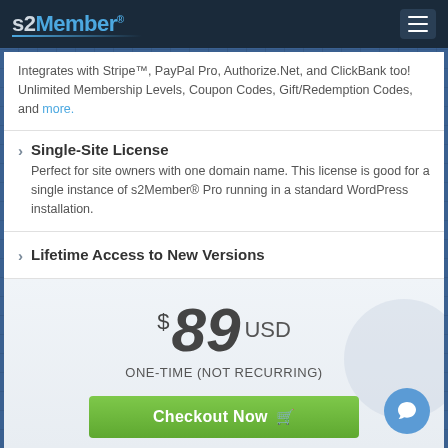s2Member®
Integrates with Stripe™, PayPal Pro, Authorize.Net, and ClickBank too! Unlimited Membership Levels, Coupon Codes, Gift/Redemption Codes, and more.
Single-Site License — Perfect for site owners with one domain name. This license is good for a single instance of s2Member® Pro running in a standard WordPress installation.
Lifetime Access to New Versions
$89 USD ONE-TIME (NOT RECURRING)
Checkout Now